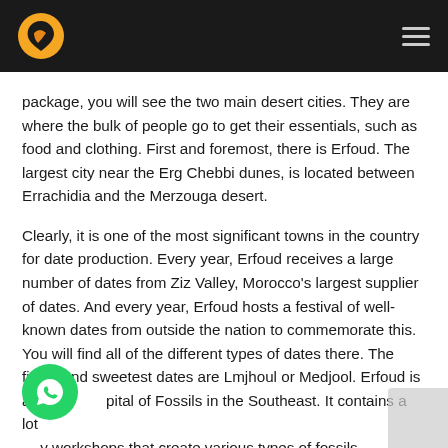[Logo] [Hamburger menu]
package, you will see the two main desert cities. They are where the bulk of people go to get their essentials, such as food and clothing. First and foremost, there is Erfoud. The largest city near the Erg Chebbi dunes, is located between Errachidia and the Merzouga desert.
Clearly, it is one of the most significant towns in the country for date production. Every year, Erfoud receives a large number of dates from Ziz Valley, Morocco's largest supplier of dates. And every year, Erfoud hosts a festival of well-known dates from outside the nation to commemorate this. You will find all of the different types of dates there. The finest and sweetest dates are Lmjhoul or Medjool. Erfoud is also capital of Fossils in the Southeast. It contains a lot of workshops that create various types of fossils for residents, visitors, and even export outside of the